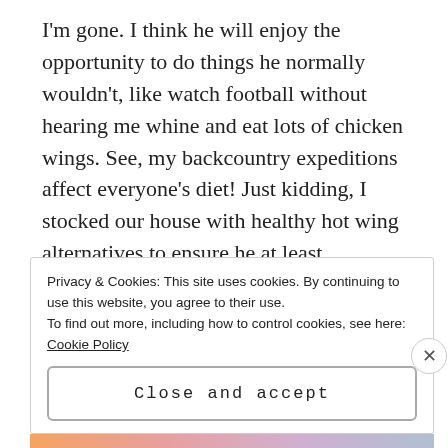I'm gone. I think he will enjoy the opportunity to do things he normally wouldn't, like watch football without hearing me whine and eat lots of chicken wings. See, my backcountry expeditions affect everyone's diet! Just kidding, I stocked our house with healthy hot wing alternatives to ensure he at least occasionally eats something green while I'm gone. I don't feel too bad about leaving, because he will have the world's most ridiculous (and helpful) Labrador to keep him company.
Privacy & Cookies: This site uses cookies. By continuing to use this website, you agree to their use.
To find out more, including how to control cookies, see here: Cookie Policy
Close and accept